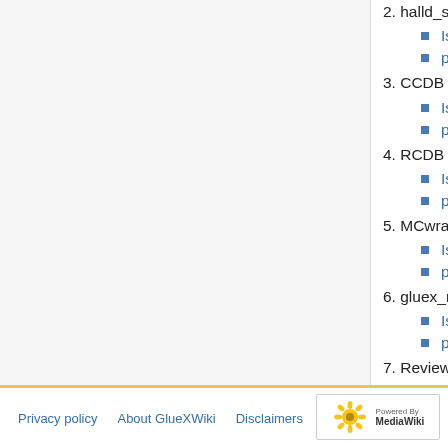2. halld_sim
Issues
pull requests
3. CCDB
Issues
pull requests
4. RCDB
Issues
pull requests
5. MCwrapper
Issues
pull requests
6. gluex_root_analysis
Issues
pull requests
7. Review of recent discussion on the GlueX Software Help List (all)
8. Action Item Review (all)
Privacy policy   About GlueXWiki   Disclaimers   Powered by MediaWiki